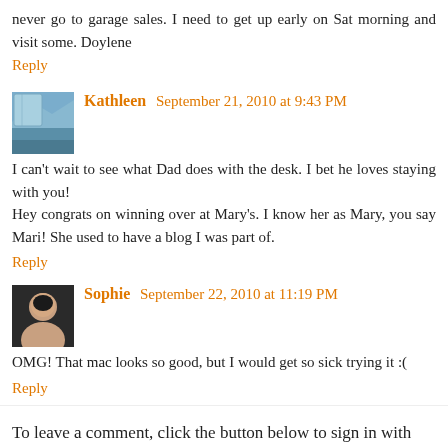never go to garage sales. I need to get up early on Sat morning and visit some. Doylene
Reply
Kathleen  September 21, 2010 at 9:43 PM
I can't wait to see what Dad does with the desk. I bet he loves staying with you!
Hey congrats on winning over at Mary's. I know her as Mary, you say Mari! She used to have a blog I was part of.
Reply
Sophie  September 22, 2010 at 11:19 PM
OMG! That mac looks so good, but I would get so sick trying it :(
Reply
To leave a comment, click the button below to sign in with Google.